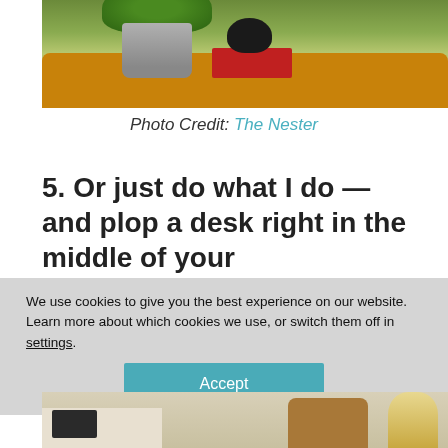[Figure (photo): Photo of a decorative tray on a table with a potted herb plant, a red book, and a black decorative object on top]
Photo Credit: The Nester
5. Or just do what I do — and plop a desk right in the middle of your
We use cookies to give you the best experience on our website.
Learn more about which cookies we use, or switch them off in settings.
Accept
[Figure (photo): Photo of a living room with a white desk with a laptop, a wooden dresser, and chairs with cushions and a lamp]